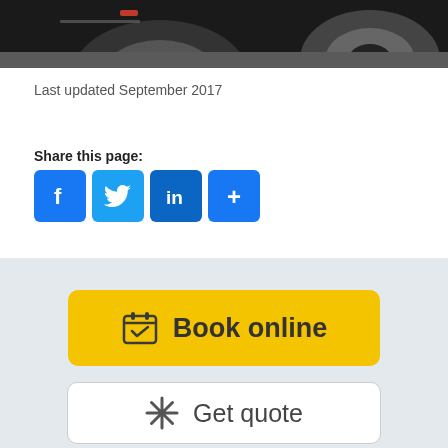[Figure (photo): Partial view of a dark car wheel/tyre area in a parking or garage setting]
Last updated September 2017
Share this page:
[Figure (infographic): Social share buttons: Facebook, Twitter, LinkedIn, and a plus/more button]
[Figure (infographic): Book online button (yellow) with calendar icon and text 'Book online']
[Figure (infographic): Get quote button (white outlined) with star/asterisk icon and text 'Get quote']